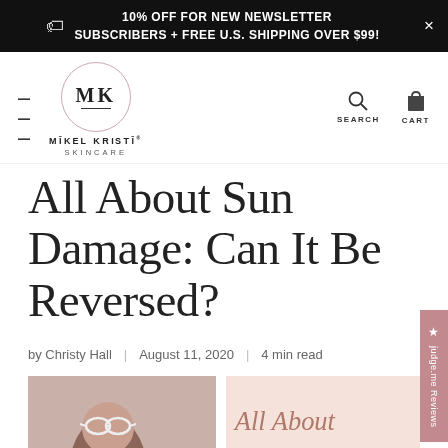10% OFF FOR NEW NEWSLETTER SUBSCRIBERS + FREE U.S. SHIPPING OVER $99!
[Figure (logo): Mikel Kristi Skincare logo: MK in circle with brand name below]
All About Sun Damage: Can It Be Reversed?
by Christy Hall | August 11, 2020 | 4 min read
[Figure (photo): Left: person wearing goggles, head cropped. Right: pink background with italic script text 'All About']